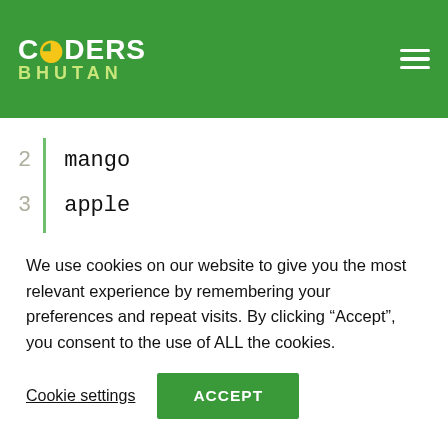CODERS BHUTAN
[Figure (screenshot): Code listing showing lines 2-5 with items: mango, apple, guava, orange. Green vertical bar separates line numbers from code.]
we will discuss more about lists in data structures.
We use cookies on our website to give you the most relevant experience by remembering your preferences and repeat visits. By clicking “Accept”, you consent to the use of ALL the cookies.